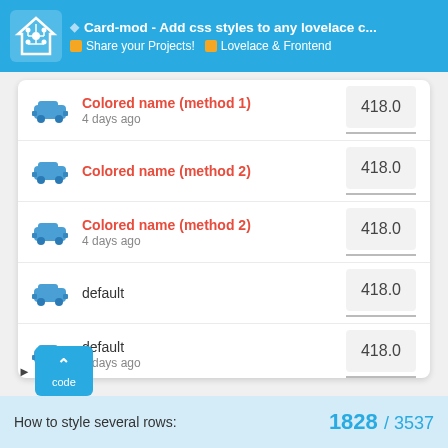Card-mod - Add css styles to any lovelace c... | Share your Projects! | Lovelace & Frontend
Colored name (method 1) — 4 days ago — 418.0
Colored name (method 2) — 418.0
Colored name (method 2) — 4 days ago — 418.0
default — 418.0
default — 4 days ago — 418.0
code
How to style several rows: 1828 / 3537